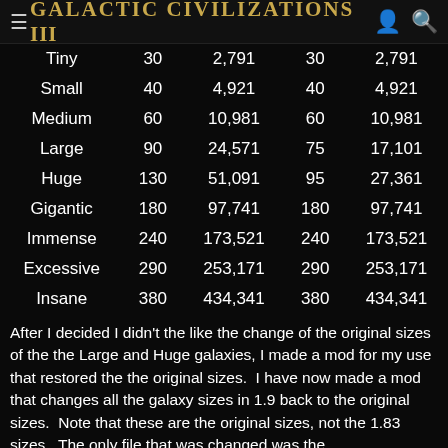Galactic Civilizations III
| Tiny | 30 | 2,791 | 30 | 2,791 |
| Small | 40 | 4,921 | 40 | 4,921 |
| Medium | 60 | 10,981 | 60 | 10,981 |
| Large | 90 | 24,571 | 75 | 17,101 |
| Huge | 130 | 51,091 | 95 | 27,361 |
| Gigantic | 180 | 97,741 | 180 | 97,741 |
| Immense | 240 | 173,521 | 240 | 173,521 |
| Excessive | 290 | 253,171 | 290 | 253,171 |
| Insane | 380 | 434,341 | 380 | 434,341 |
After I decided I didn't the like the change of the original sizes of the the Large and Huge galaxies, I made a mod for my use that restored the the original sizes.  I have now made a mod that changes all the galaxy sizes in 1.9 back to the original sizes.  Note that these are the original sizes, not the 1.83 sizes.  The only file that was changed was the MapSizeDefs.xml.  The only changes made were